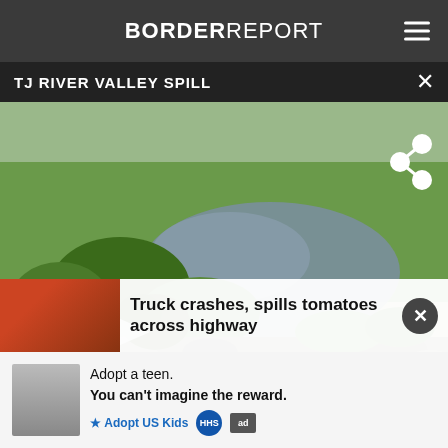BORDER REPORT
TJ RIVER VALLEY SPILL
[Figure (photo): Aerial/ground-level photo of TJ River Valley showing a waterway/spill pooling among green fields, rocks, and vegetation. A play button overlay indicates this is a video thumbnail.]
Truck crashes, spills tomatoes across highway
Adopt a teen. You can't imagine the reward.